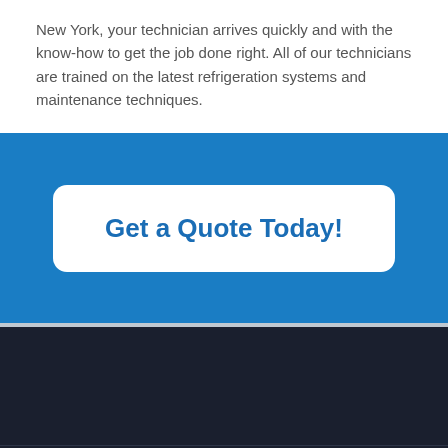New York, your technician arrives quickly and with the know-how to get the job done right. All of our technicians are trained on the latest refrigeration systems and maintenance techniques.
[Figure (other): Blue call-to-action banner with a white rounded rectangle button containing the text 'Get a Quote Today!']
[Figure (other): Dark navy footer area with a scrollback-to-top button (upward chevron in a bordered rectangle) and copyright text '© Alliance Group, Inc. 2018']
© Alliance Group, Inc. 2018